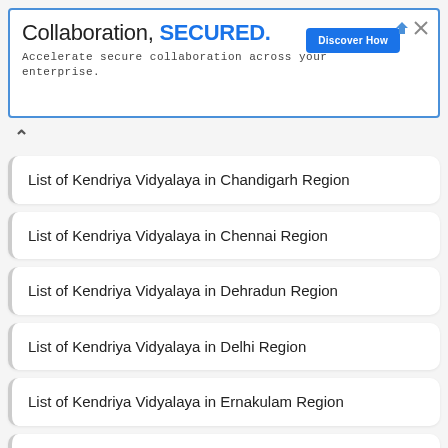[Figure (other): Advertisement banner: 'Collaboration, SECURED.' with blue border, 'Discover How' button, and subtitle text 'Accelerate secure collaboration across your enterprise.']
List of Kendriya Vidyalaya in Chandigarh Region
List of Kendriya Vidyalaya in Chennai Region
List of Kendriya Vidyalaya in Dehradun Region
List of Kendriya Vidyalaya in Delhi Region
List of Kendriya Vidyalaya in Ernakulam Region
List of Kendriya Vidyalaya in Gurgaon Region